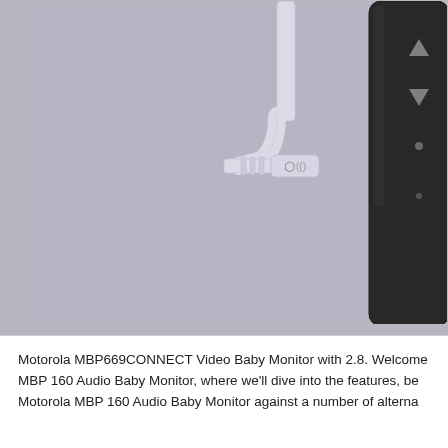[Figure (photo): Close-up photo of a USB cable connector plugged into a dark-colored device (baby monitor), set against a light purple-gray background. The device shows navigation buttons (up/down arrows) on the right side.]
Motorola MBP669CONNECT Video Baby Monitor with 2.8. Welcome MBP 160 Audio Baby Monitor, where we'll dive into the features, be Motorola MBP 160 Audio Baby Monitor against a number of alterna